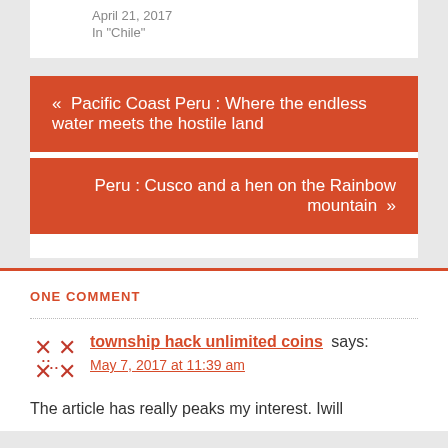April 21, 2017
In "Chile"
« Pacific Coast Peru : Where the endless water meets the hostile land
Peru : Cusco and a hen on the Rainbow mountain »
ONE COMMENT
township hack unlimited coins says:
May 7, 2017 at 11:39 am
The article has really peaks my interest. Iwill